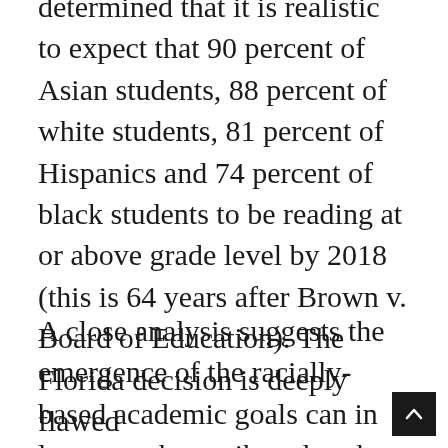determined that it is realistic to expect that 90 percent of Asian students, 88 percent of white students, 81 percent of Hispanics and 74 percent of black students to be reading at or above grade level by 2018 (this is 64 years after Brown v. Board of Education). The Florida decision is deeply flawed
A close analysis suggests the emergence of the racially-based academic goals can in large part be attributed to the ongoing discussion about the impact of poverty